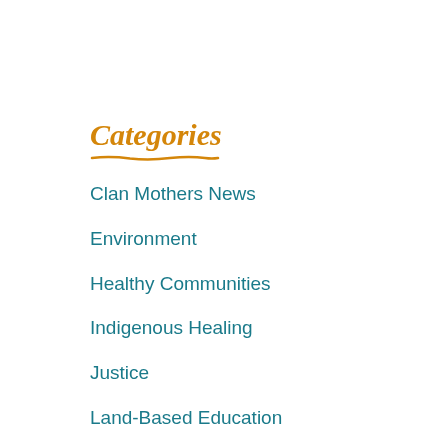Categories
Clan Mothers News
Environment
Healthy Communities
Indigenous Healing
Justice
Land-Based Education
Matriarchs / Grandmothers
MMIWG